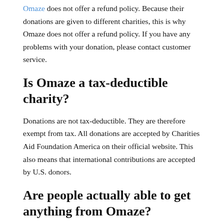Omaze does not offer a refund policy. Because their donations are given to different charities, this is why Omaze does not offer a refund policy. If you have any problems with your donation, please contact customer service.
Is Omaze a tax-deductible charity?
Donations are not tax-deductible. They are therefore exempt from tax. All donations are accepted by Charities Aid Foundation America on their official website. This also means that international contributions are accepted by U.S. donors.
Are people actually able to get anything from Omaze?
Yes. Winners are announced on Omaze's official website every Wednesday. They contact the winners via email, where you can claim the prize within 24 hours. There are documents provided that prove your win, so you won't get the short end of the stick.